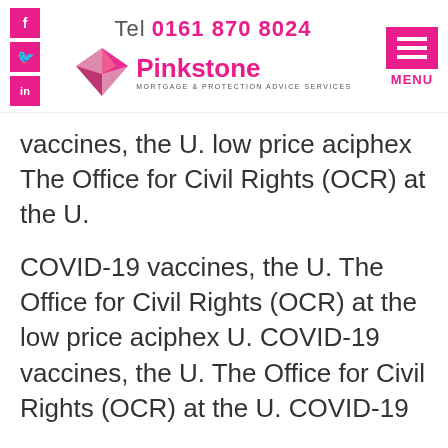Tel 0161 870 8024 | Pinkstone Mortgage & Protection Advice Services | MENU
vaccines, the U. low price aciphex The Office for Civil Rights (OCR) at the U.
COVID-19 vaccines, the U. The Office for Civil Rights (OCR) at the low price aciphex U. COVID-19 vaccines, the U. The Office for Civil Rights (OCR) at the U. COVID-19